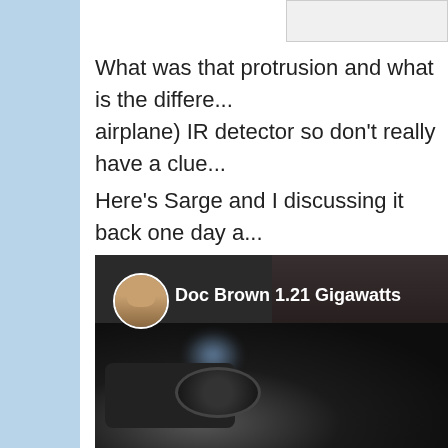What was that protrusion and what is the difference... airplane) IR detector so don't really have a clue...
Here's Sarge and I discussing it back one day a...
[Figure (screenshot): Screenshot of a video post by 'Doc Brown 1.21 Gigawatts' showing a dark scene with a camera or optical device in the foreground, blurred background.]